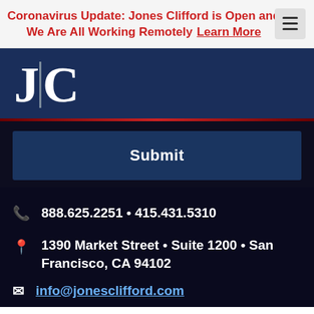Coronavirus Update: Jones Clifford is Open and We Are All Working Remotely Learn More
[Figure (logo): Jones Clifford law firm logo with stylized J|C letters in white on dark navy background]
Submit
888.625.2251 • 415.431.5310
1390 Market Street • Suite 1200 • San Francisco, CA 94102
info@jonesclifford.com